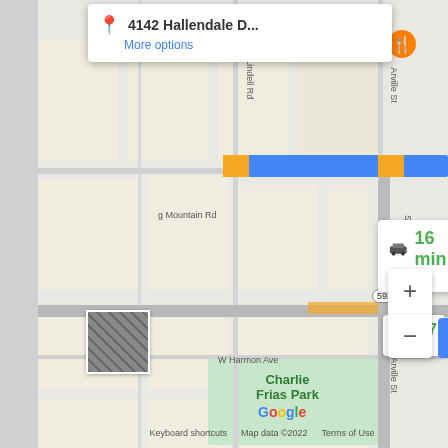[Figure (screenshot): Google Maps screenshot showing navigation directions to 4142 Hallendale D... with two route options: 16 min / 5.6 miles and 17 min / 6.6 miles, with a blue highlighted route along a main road, map labels including Charlie Frias Park, S Lindell Rd, S Decatur Blvd, Arville St, W Harmon Ave, Mountain Rd, highway 592 badge, zoom controls, satellite thumbnail, Google logo, and footer with Keyboard shortcuts, Map data ©2022, Terms of Use.]